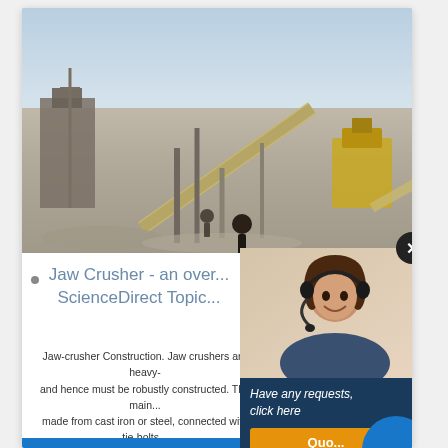[Figure (photo): Outdoor industrial jaw crusher / mining plant facility with conveyor belts, yellow machinery, and a worker standing in foreground on dusty ground under hazy sky]
[Figure (photo): Customer service representative woman smiling with headset, overlaid chat panel with close button, quote button, enquiry section, and email limingjlmofen@sina.com]
Jaw Crusher - an overview | ScienceDirect Topics
Jaw-crusher Construction. Jaw crushers are heavy-duty and hence must be robustly constructed. The main frame is made from cast iron or steel, connected with tie-bolts and made in sections so that it can be transported underground for